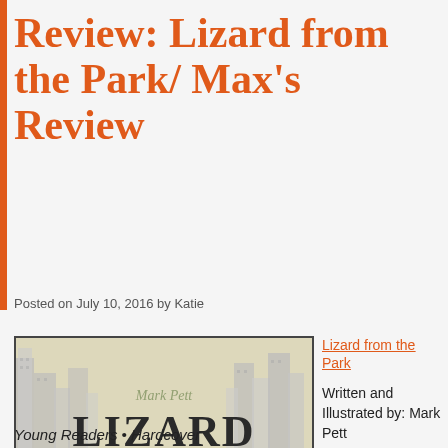Review: Lizard from the Park/ Max's Review
Posted on July 10, 2016 by Katie
[Figure (photo): Book cover of 'Lizard from the Park' by Mark Pett, showing a child looking at a lizard in a park with city skyline in background]
Lizard from the Park
Written and Illustrated by: Mark Pett
Simon and Shuster Books for
Young Readers • Hardcover